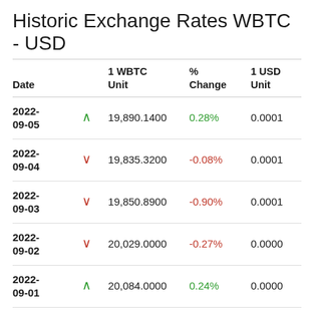Historic Exchange Rates WBTC - USD
| Date |  | 1 WBTC Unit | % Change | 1 USD Unit |
| --- | --- | --- | --- | --- |
| 2022-09-05 | ▲ | 19,890.1400 | 0.28% | 0.0001 |
| 2022-09-04 | ▼ | 19,835.3200 | -0.08% | 0.0001 |
| 2022-09-03 | ▼ | 19,850.8900 | -0.90% | 0.0001 |
| 2022-09-02 | ▼ | 20,029.0000 | -0.27% | 0.0000 |
| 2022-09-01 | ▲ | 20,084.0000 | 0.24% | 0.0000 |